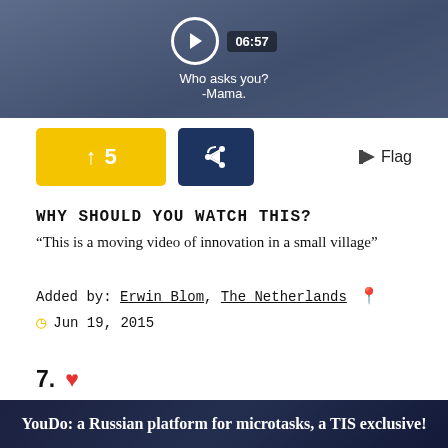[Figure (screenshot): Video thumbnail showing person in folk costume with play button and timer 06:57, caption 'Who asks you? -Mama.']
↑ 5   [share button]   Flag
WHY SHOULD YOU WATCH THIS?
“This is a moving video of innovation in a small village”
Added by: Erwin Blom, The Netherlands 📍
Jun 19, 2015
7. ❤
[Figure (screenshot): Video thumbnail with dark blue overlay showing text 'YouDo: a Russian platform for microtasks, a TIS exclusive!']